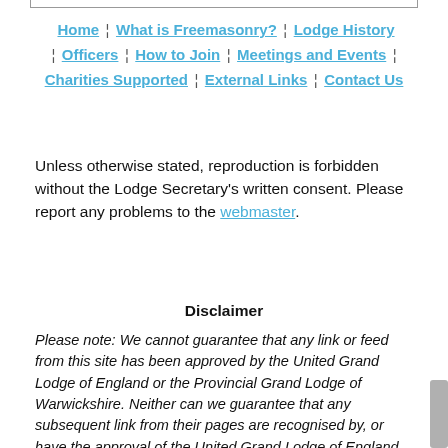Home | What is Freemasonry? | Lodge History | Officers | How to Join | Meetings and Events | Charities Supported | External Links | Contact Us
Unless otherwise stated, reproduction is forbidden without the Lodge Secretary's written consent. Please report any problems to the webmaster.
Disclaimer
Please note: We cannot guarantee that any link or feed from this site has been approved by the United Grand Lodge of England or the Provincial Grand Lodge of Warwickshire. Neither can we guarantee that any subsequent link from their pages are recognised by, or have the approval of the United Grand Lodge of England or the Provincial Grand Lodge of Warwickshire.